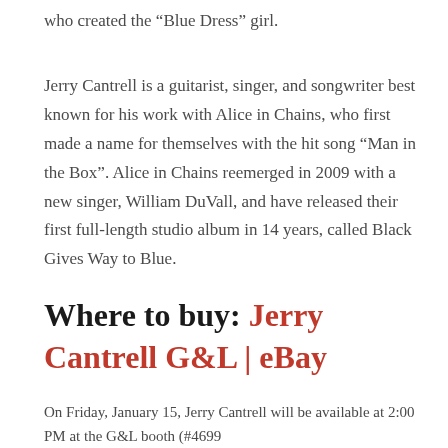who created the “Blue Dress” girl.
Jerry Cantrell is a guitarist, singer, and songwriter best known for his work with Alice in Chains, who first made a name for themselves with the hit song “Man in the Box”. Alice in Chains reemerged in 2009 with a new singer, William DuVall, and have released their first full-length studio album in 14 years, called Black Gives Way to Blue.
Where to buy: Jerry Cantrell G&L | eBay
On Friday, January 15, Jerry Cantrell will be available at 2:00 PM at the G&L booth (#4699...